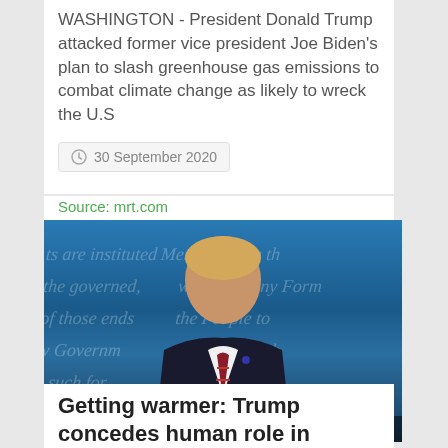WASHINGTON - President Donald Trump attacked former vice president Joe Biden's plan to slash greenhouse gas emissions to combat climate change as likely to wreck the U.S
30 September 2020
Source: mrt.com
[Figure (photo): Photo of Donald Trump at a podium during a debate, blue background with script text overlay. Label reads PROGRESSIVE POLITICS in green.]
Getting warmer: Trump concedes human role in climate change